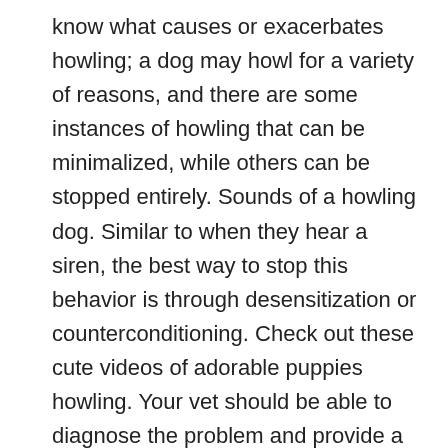know what causes or exacerbates howling; a dog may howl for a variety of reasons, and there are some instances of howling that can be minimalized, while others can be stopped entirely. Sounds of a howling dog. Similar to when they hear a siren, the best way to stop this behavior is through desensitization or counterconditioning. Check out these cute videos of adorable puppies howling. Your vet should be able to diagnose the problem and provide a program of care, which will stop the howling and leave your dog feeling much better. In this case, the howling is in response to a loud, unexpected noise. Dogs howl to attract attention, to make contact with others and to announce their presence. If a dog is hurt, he can't tell you like a person would. The ASPCA Virtual Pet Behaviorist specializes in the resolution and management of pet behavior problems only. He's telling you that he's under too much stress and you need to change your training place or method. When you